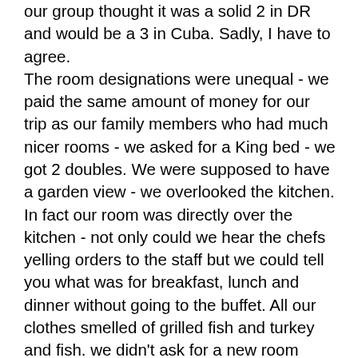our group thought it was a solid 2 in DR and would be a 3 in Cuba. Sadly, I have to agree.
The room designations were unequal - we paid the same amount of money for our trip as our family members who had much nicer rooms - we asked for a King bed - we got 2 doubles. We were supposed to have a garden view - we overlooked the kitchen. In fact our room was directly over the kitchen - not only could we hear the chefs yelling orders to the staff but we could tell you what was for breakfast, lunch and dinner without going to the buffet. All our clothes smelled of grilled fish and turkey and fish. we didn't ask for a new room because others were complaining of problems in their rooms such as flooding showers, over flowing toilets, constant dripping taps... we had no problems with the plumbing - just noise and the scent of kitchen, and a terrible view from the balcony - we only saw a domed roof and the back corridor of the kitchen - and there was a smell outside so we didn't use the balcony at all.
Our room had air conditioning on arrival - but I touched the